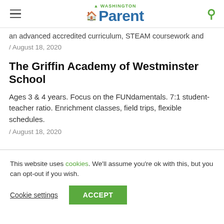Washington Parent
an advanced accredited curriculum, STEAM coursework and
/ August 18, 2020
The Griffin Academy of Westminster School
Ages 3 & 4 years. Focus on the FUNdamentals. 7:1 student-teacher ratio. Enrichment classes, field trips, flexible schedules.
/ August 18, 2020
This website uses cookies. We'll assume you're ok with this, but you can opt-out if you wish.